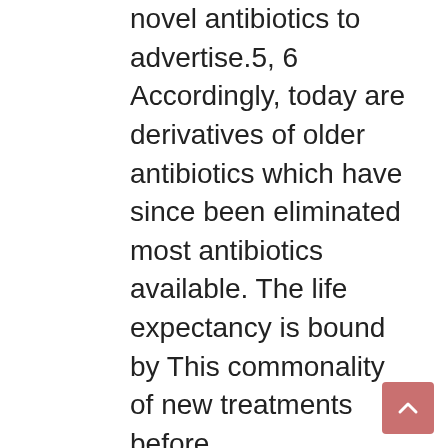novel antibiotics to advertise.5, 6 Accordingly, today are derivatives of older antibiotics which have since been eliminated most antibiotics available. The life expectancy is bound by This commonality of new treatments before cross\resistance makes them ineffective.7 So that they can Rabbit polyclonal to LOX break this deadlock, modern times have observed developing fascination with the exploration of brand-new antibacterial goals and scaffolds in screening.8 Specifically, we yet others possess sought to utilize divergent synthesis to recognize novel antibacterial potential clients for drug advancement.9, 10, 11 The cylindrocyclophanes certainly are a category of macrocyclic natural basic products isolated from marine and terrestrial cyanobacteria.12